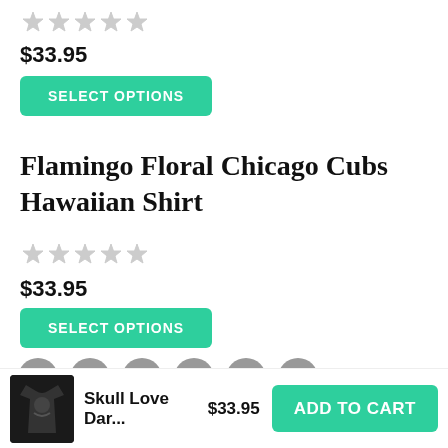[Figure (other): 5-star rating (all empty/grey stars)]
$33.95
SELECT OPTIONS
Flamingo Floral Chicago Cubs Hawaiian Shirt
[Figure (other): 5-star rating (all empty/grey stars)]
$33.95
SELECT OPTIONS
[Figure (other): Social share icons: Facebook, Twitter, LinkedIn, Pinterest, WhatsApp, Email]
[Figure (photo): Small product thumbnail of a dark hawaiian shirt (Skull Love Dar...)]
Skull Love Dar...
$33.95
ADD TO CART